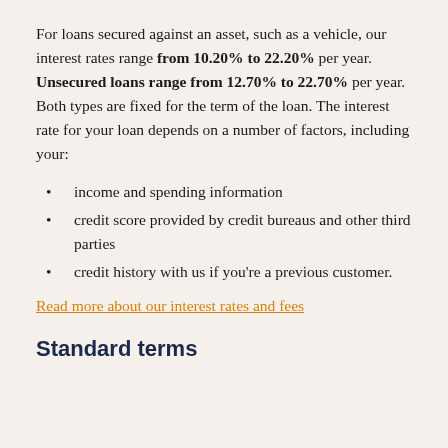For loans secured against an asset, such as a vehicle, our interest rates range from 10.20% to 22.20% per year. Unsecured loans range from 12.70% to 22.70% per year. Both types are fixed for the term of the loan. The interest rate for your loan depends on a number of factors, including your:
income and spending information
credit score provided by credit bureaus and other third parties
credit history with us if you're a previous customer.
Read more about our interest rates and fees
Standard terms